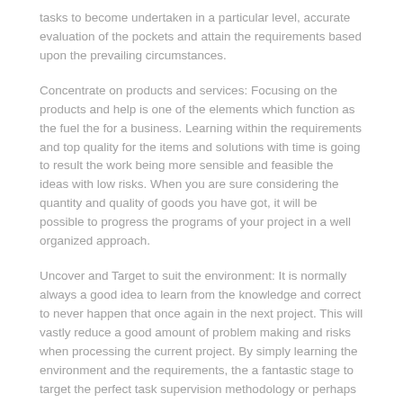tasks to become undertaken in a particular level, accurate evaluation of the pockets and attain the requirements based upon the prevailing circumstances.
Concentrate on products and services: Focusing on the products and help is one of the elements which function as the fuel the for a business. Learning within the requirements and top quality for the items and solutions with time is going to result the work being more sensible and feasible the ideas with low risks. When you are sure considering the quantity and quality of goods you have got, it will be possible to progress the programs of your project in a well organized approach.
Uncover and Target to suit the environment: It is normally always a good idea to learn from the knowledge and correct to never happen that once again in the next project. This will vastly reduce a good amount of problem making and risks when processing the current project. By simply learning the environment and the requirements, the a fantastic stage to target the perfect task supervision methodology or perhaps wording that